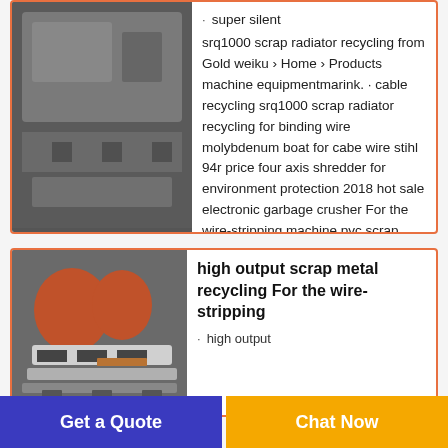[Figure (photo): Partial image of industrial recycling machinery at top left of first card]
· super silent srq1000 scrap radiator recycling from Gold weiku › Home › Products machine equipmentmarink. · cable recycling srq1000 scrap radiator recycling for binding wire molybdenum boat for cabe wire stihl 94r price four axis shredder for environment protection 2018 hot sale electronic garbage crusher For the wire-stripping machine pvc scrap price scrap tire
[Figure (photo): Photo of orange and white industrial scrap metal recycling wire-stripping machinery]
high output scrap metal recycling For the wire-stripping
· high output